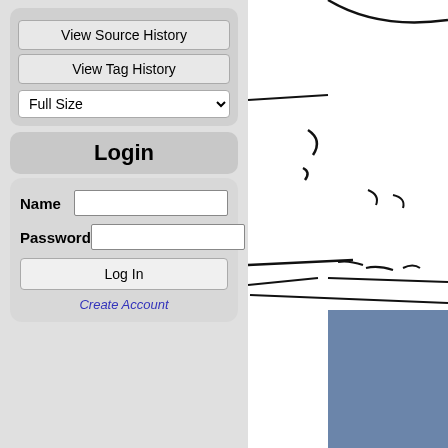[Figure (screenshot): Left sidebar panel with buttons: View Source History, View Tag History, Full Size dropdown, Login header, and a login form with Name, Password fields, Log In button, and Create Account link. Right side shows a partial screenshot of a web page with a sketch/drawing area and a blue panel.]
View Source History
View Tag History
Full Size
Login
Name
Password
Log In
Create Account